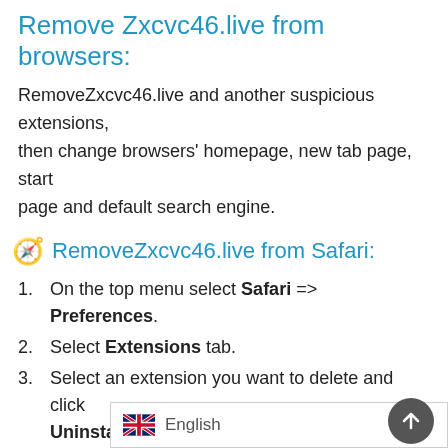Remove Zxcvc46.live from browsers:
RemoveZxcvc46.live and another suspicious extensions, then change browsers' homepage, new tab page, start page and default search engine.
🧭 RemoveZxcvc46.live from Safari:
1. On the top menu select Safari => Preferences.
2. Select Extensions tab.
3. Select an extension you want to delete and click Uninstall button next to it.
🔵 Remove Zxcvc46.live from Google Chrome:
1. Click on three dots menu button ⋮ .
2. Select More tools => Exte...